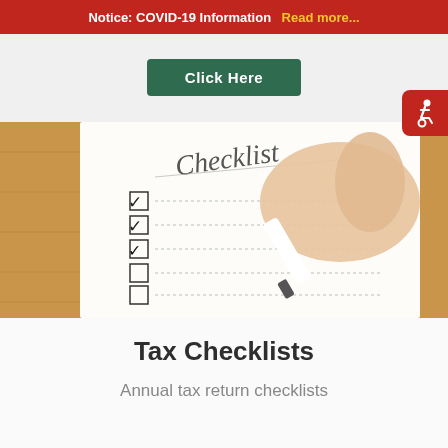Notice: COVID-19 Information  Read more...
Click Here
[Figure (photo): A hand holding a marker checking boxes on a checklist paper on a wooden table. The paper reads 'Checklist' at the top with several checkboxes, some checked.]
Tax Checklists
Annual tax return checklists